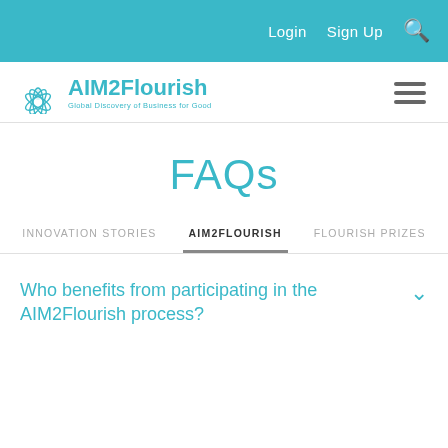Login  Sign Up  🔍
[Figure (logo): AIM2Flourish logo with lotus flower icon and tagline 'Global Discovery of Business for Good']
FAQs
INNOVATION STORIES   AIM2FLOURISH   FLOURISH PRIZES
Who benefits from participating in the AIM2Flourish process?